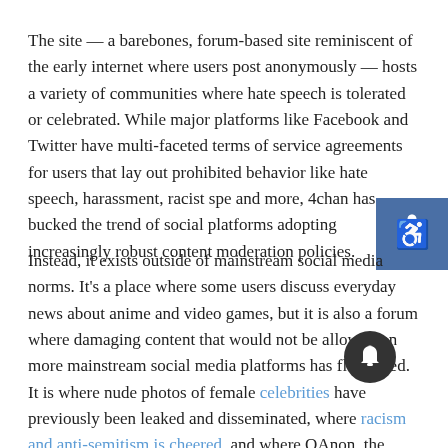The site — a barebones, forum-based site reminiscent of the early internet where users post anonymously — hosts a variety of communities where hate speech is tolerated or celebrated. While major platforms like Facebook and Twitter have multi-faceted terms of service agreements for users that lay out prohibited behavior like hate speech, harassment, racist spe and more, 4chan has bucked the trend of social platforms adopting increasingly robust content moderation policies.
Instead, it exists outside of mainstream social media norms. It's a place where some users discuss everyday news about anime and video games, but it is also a forum where damaging content that would not be allowed on more mainstream social media platforms has flourished. It is where nude photos of female celebrities have previously been leaked and disseminated, where racism and anti-semitism is cheered, and where QAnon, the conspiracy cult, originated.